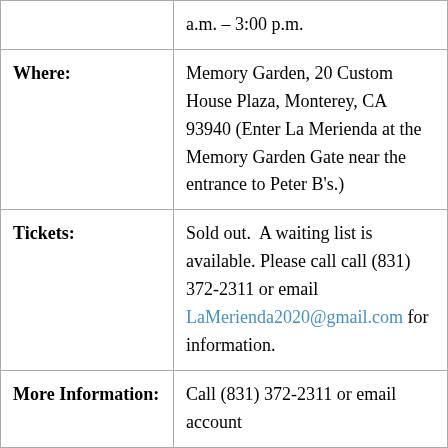|  | a.m. – 3:00 p.m. |
| Where: | Memory Garden, 20 Custom House Plaza, Monterey, CA 93940 (Enter La Merienda at the Memory Garden Gate near the entrance to Peter B's.) |
| Tickets: | Sold out.  A waiting list is available. Please call call (831) 372-2311 or email LaMerienda2020@gmail.com for information. |
| More Information: | Call (831) 372-2311 or email account |